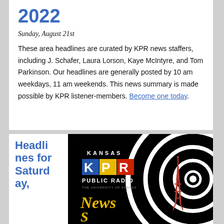2022
Sunday, August 21st
These area headlines are curated by KPR news staffers, including J. Schafer, Laura Lorson, Kaye McIntyre, and Tom Parkinson. Our headlines are generally posted by 10 am weekdays, 11 am weekends. This news summary is made possible by KPR listener-members. Become one today.
Headlines for Saturday,
[Figure (logo): Kansas Public Radio - The University of Kansas, News logo on black background with radio tower and spiral concentric circles design]